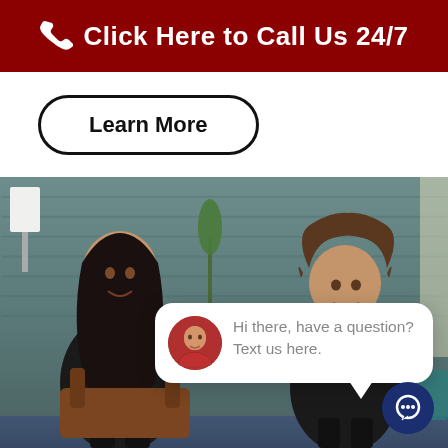Click Here to Call Us 24/7
Learn More
[Figure (photo): Two women sitting in chairs in a modern office setting with teal brick wall background. A chat widget overlay shows an avatar and text: 'Hi there, have a question? Text us here.' A dark navy chat button appears in the bottom right corner.]